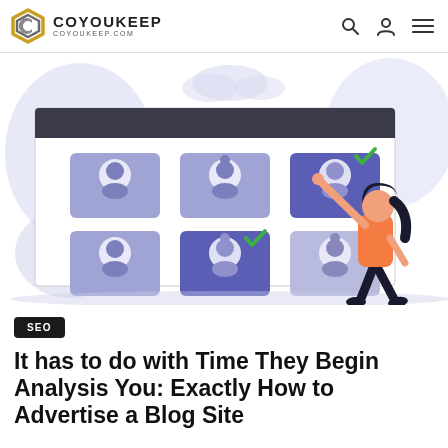COYOUKEEP COYOUKEEP.COM
[Figure (illustration): Illustration of a person selecting user profiles on a large screen. Six user avatar cards arranged in a 2x3 grid, two with green checkmarks. A woman in orange and dark outfit points to the top-right card. Background has light purple decorative shapes.]
SEO
It has to do with Time They Begin Analysis You: Exactly How to Advertise a Blog Site